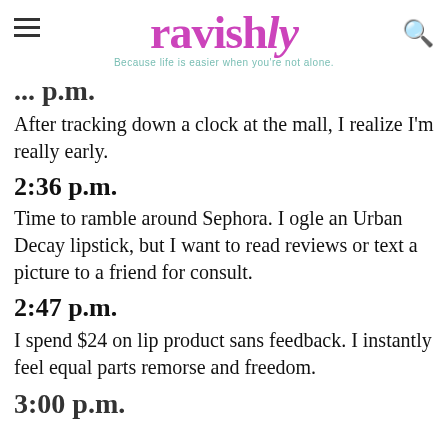ravishly — Because life is easier when you're not alone.
[partial time] p.m.
After tracking down a clock at the mall, I realize I'm really early.
2:36 p.m.
Time to ramble around Sephora. I ogle an Urban Decay lipstick, but I want to read reviews or text a picture to a friend for consult.
2:47 p.m.
I spend $24 on lip product sans feedback. I instantly feel equal parts remorse and freedom.
3:00 p.m.